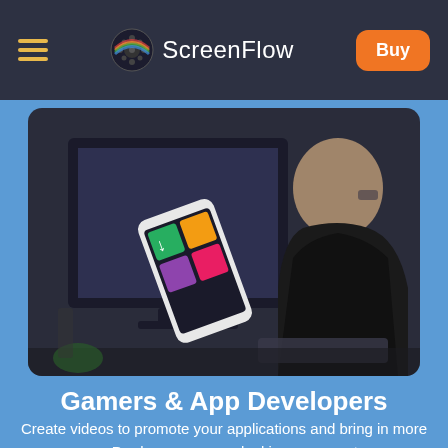ScreenFlow — Buy
[Figure (photo): Man sitting at desktop computer viewing a colorful mobile app illustration on screen, seen from behind/side angle, dark background]
Gamers & App Developers
Create videos to promote your applications and bring in more revenue. Produce awesome-looking gamecasts, app previews, or software demos.
ScreenFlow for gamers & developers →